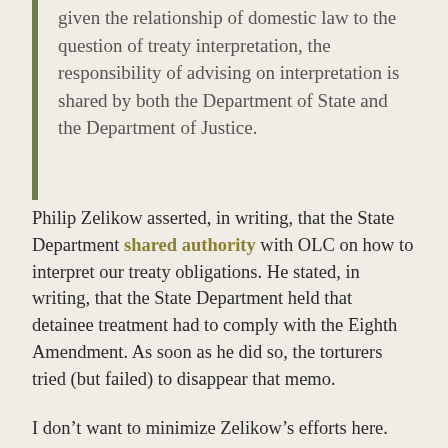given the relationship of domestic law to the question of treaty interpretation, the responsibility of advising on interpretation is shared by both the Department of State and the Department of Justice.
Philip Zelikow asserted, in writing, that the State Department shared authority with OLC on how to interpret our treaty obligations. He stated, in writing, that the State Department held that detainee treatment had to comply with the Eighth Amendment. As soon as he did so, the torturers tried (but failed) to disappear that memo.
I don’t want to minimize Zelikow’s efforts here. His broader claim to a role to Really data here. H